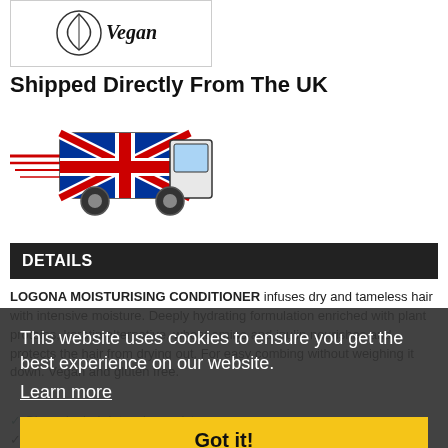[Figure (logo): Vegan certification logo with leaf and 'Vegan' text]
Shipped Directly From The UK
[Figure (illustration): A delivery truck decorated with the UK Union Jack flag, with speed lines indicating fast shipping]
DETAILS
LOGONA MOISTURISING CONDITIONER infuses dry and tameless hair with intensive moisture. Deeply hydrating formulation enriched with plant proteins, keratin alternative, wheat amino and inulin nourishes and protects the hair from drying out. For easy combing without weighing it down. Vegan and gluten free.
This website uses cookies to ensure you get the best experience on our website. Learn more
Got it!
✓ Gives dry hair intensive moisture
✓ Cares and protects the hair from drying out